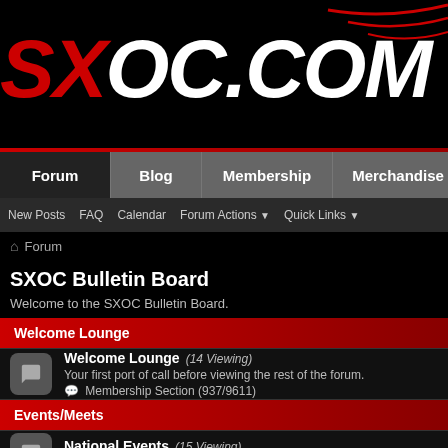[Figure (screenshot): SXOC.com website banner with large red and white logo text on black background with red swoosh lines]
Forum | Blog | Membership | Merchandise
New Posts  FAQ  Calendar  Forum Actions ▼  Quick Links ▼
🏠 Forum
SXOC Bulletin Board
Welcome to the SXOC Bulletin Board.
Welcome Lounge
Welcome Lounge  (14 Viewing)
Your first port of call before viewing the rest of the forum.
💬 Membership Section (937/9611)
Events/Meets
National Events  (15 Viewing)
The main events for club members